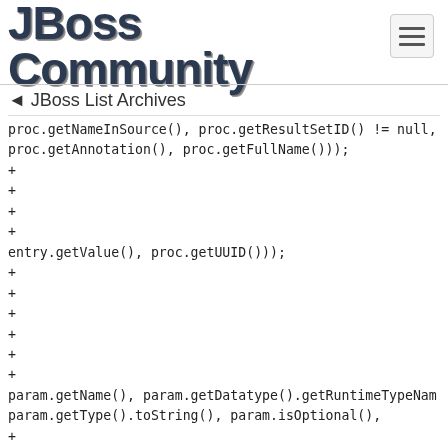[Figure (logo): JBoss Community logo text in dark blue-gray with bold stylized font]
JBoss List Archives
proc.getNameInSource(), proc.getResultSetID() != null,
proc.getAnnotation(), proc.getFullName()));
+
+
+
+
entry.getValue(), proc.getUUID()));
+
+
+
+
+
+
param.getName(), param.getDatatype().getRuntimeTypeNam
param.getType().toString(), param.isOptional(),
+